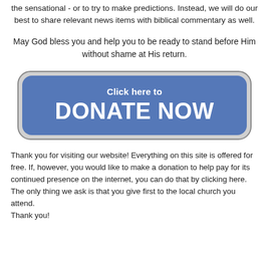the sensational - or to try to make predictions.  Instead, we will do our best to share relevant news items with biblical commentary as well.
May God bless you and help you to be ready to stand before Him without shame at His return.
[Figure (other): A large blue rounded-rectangle button with the text 'Click here to' and 'DONATE NOW' in white bold text on a steel-blue background with a gray border.]
Thank you for visiting our website!  Everything on this site is offered for free.  If, however, you would like to make a donation to help pay for its continued presence on the internet, you can do that by clicking here.  The only thing we ask is that you give first to the local church you attend.
Thank you!